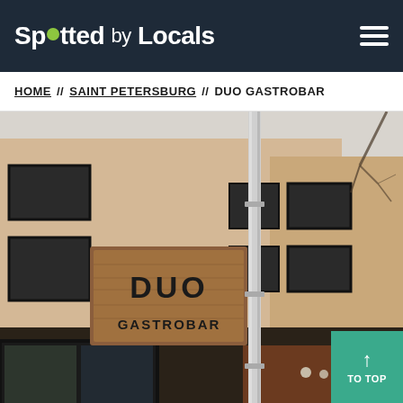Spotted by Locals
HOME // SAINT PETERSBURG // DUO GASTROBAR
[Figure (photo): Exterior photo of Duo Gastrobar building facade in Saint Petersburg, showing a wooden sign with 'DUO GASTROBAR' text, a white drainpipe, large black-framed windows, and a beige/cream colored building exterior with bare tree branches visible in the background.]
TO TOP